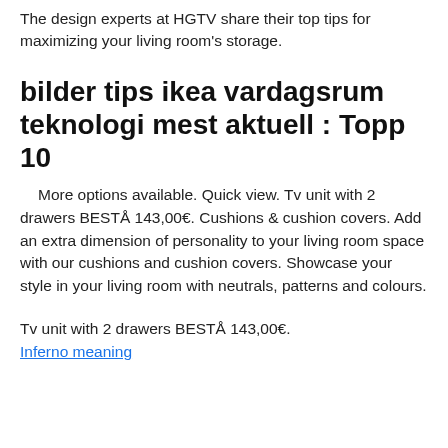The design experts at HGTV share their top tips for maximizing your living room's storage.
bilder tips ikea vardagsrum teknologi mest aktuell : Topp 10
More options available. Quick view. Tv unit with 2 drawers BESTÅ 143,00€. Cushions & cushion covers. Add an extra dimension of personality to your living room space with our cushions and cushion covers. Showcase your style in your living room with neutrals, patterns and colours.
Tv unit with 2 drawers BESTÅ 143,00€.
Inferno meaning